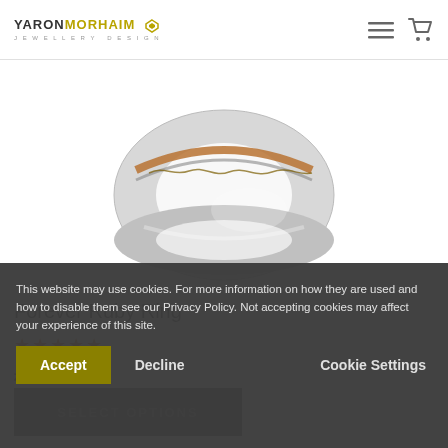YARON MORHAIM JEWELLERY DESIGN
[Figure (photo): Close-up photo of a silver and rose gold spinner / meditation ring with decorative band detail, shown on white background]
Forever Ruby Ring
★★★★★
£294.00
SELECT OPTIONS
This website may use cookies. For more information on how they are used and how to disable them see our Privacy Policy. Not accepting cookies may affect your experience of this site.
Accept  Decline  Cookie Settings